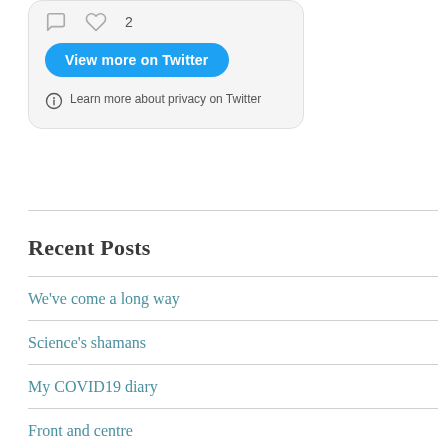[Figure (screenshot): Twitter embedded widget showing tweet icons (comment and like with count 2), a blue 'View more on Twitter' button, and a privacy notice with info icon saying 'Learn more about privacy on Twitter']
Recent Posts
We've come a long way
Science's shamans
My COVID19 diary
Front and centre